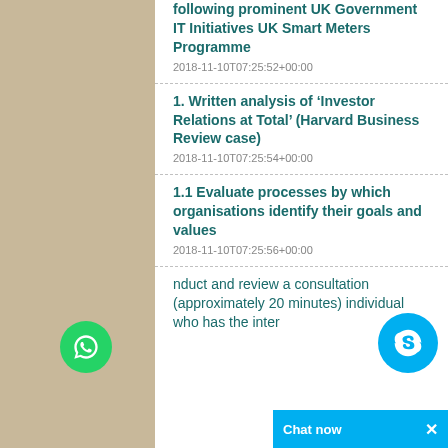following prominent UK Government IT Initiatives UK Smart Meters Programme
2018-11-10T07:25:52+00:00
1. Written analysis of ‘Investor Relations at Total’ (Harvard Business Review case)
2018-11-10T07:25:54+00:00
1.1 Evaluate processes by which organisations identify their goals and values
2018-11-10T07:25:56+00:00
nduct and review a consultation (approximately 20 minutes) individual who has the inter...